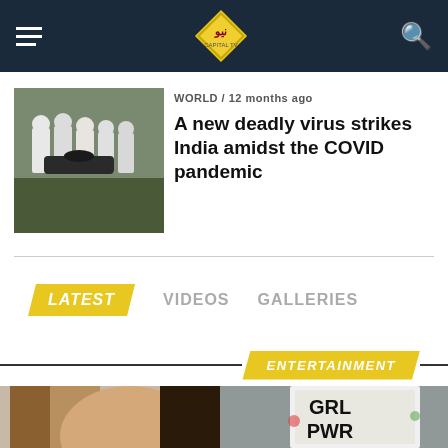[Figure (screenshot): Dark navy navigation bar with hamburger menu icon on left, diamond-shaped logo in center, search icon on right]
[Figure (photo): Thumbnail image of people in white hazmat suits]
WORLD / 12 months ago
A new deadly virus strikes India amidst the COVID pandemic
LATEST   VIDEOS   GALLERIES
ENTERTAINMENT
[Figure (photo): Entertainment section photo showing a woman with long hair and a sign reading GRL PWR in the background]